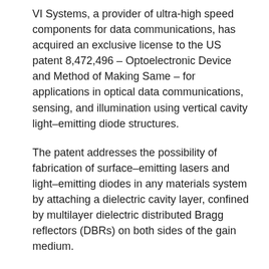VI Systems, a provider of ultra-high speed components for data communications, has acquired an exclusive license to the US patent 8,472,496 – Optoelectronic Device and Method of Making Same – for applications in optical data communications, sensing, and illumination using vertical cavity light–emitting diode structures.
The patent addresses the possibility of fabrication of surface–emitting lasers and light–emitting diodes in any materials system by attaching a dielectric cavity layer, confined by multilayer dielectric distributed Bragg reflectors (DBRs) on both sides of the gain medium.
The concept enables the trapping and amplification of light, even the cavity layer itself remains passive. This approach eliminates the need in lattice–matched high conductivity all–semiconductor DBRs and allows easy integration of the device to photonic crystals, subwavelength gratings, waveguides, offers an option of high temperature stability of the wavelengths for uncooled DWDM applications and provides multiple